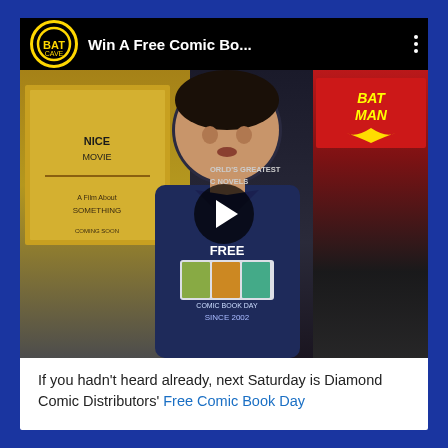[Figure (screenshot): YouTube video thumbnail showing a young man in a navy Free Comic Book Day t-shirt standing in front of a wall of comic book posters. The video title bar shows 'Win A Free Comic Bo...' with a Batcave channel logo and three-dot menu. A play button is overlaid on the center of the thumbnail.]
If you hadn't heard already, next Saturday is Diamond Comic Distributors' Free Comic Book Day